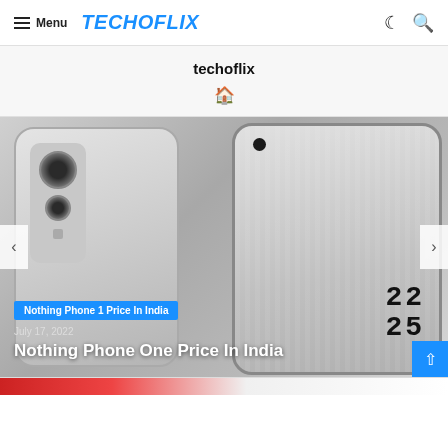Menu  TECHOFLIX
techoflix
[Figure (photo): Nothing Phone 1 shown from back and front angles on grey gradient background, with camera module visible on back and dot-matrix time display on front screen]
Nothing Phone 1 Price In India
July 17, 2022
Nothing Phone One Price In India